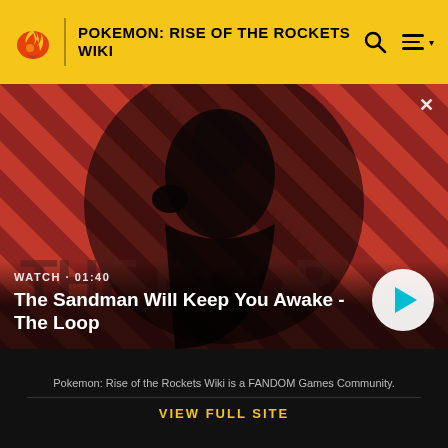POKEMON: RISE OF THE ROCKETS WIKI
[Figure (screenshot): Fandom video thumbnail showing a dark-clad figure with a raven, diagonal red/dark stripe background, with 'THE LOOP' text watermark. Video title: The Sandman Will Keep You Awake - The Loop. Duration: 01:40. Play button overlay.]
Pokemon: Rise of the Rockets Wiki is a FANDOM Games Community.
VIEW FULL SITE